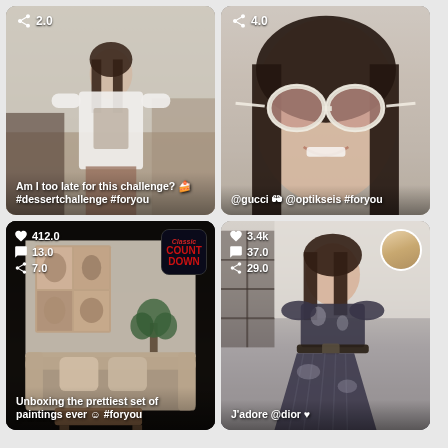[Figure (screenshot): TikTok video screenshot: young woman posing in oversized white graphic t-shirt in a room. Share count: 2.0. Caption: Am I too late for this challenge? 🍰 #dessertchallenge #foryou]
[Figure (screenshot): TikTok video screenshot: close-up of young Asian woman wearing large white Gucci sunglasses. Share count: 4.0. Caption: @gucci 🕶 @optikseis #foryou]
[Figure (screenshot): TikTok video screenshot: dark room interior with paintings on wall and couch. Likes: 412.0, Comments: 13.0, Shares: 7.0. Classic Countdown badge visible. Caption: Unboxing the prettiest set of paintings ever ☺ #foryou]
[Figure (screenshot): TikTok video screenshot: young woman in black and white tie-dye dress. Likes: 3.4k, Comments: 37.0, Shares: 29.0. Profile picture circle top right. Caption: J'adore @dior ♥]